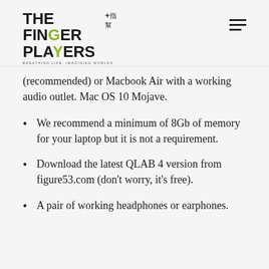The Finger Players — BREATHING LIFE. IMAGINING WORLDS.
(recommended) or Macbook Air with a working audio outlet. Mac OS 10 Mojave.
We recommend a minimum of 8Gb of memory for your laptop but it is not a requirement.
Download the latest QLAB 4 version from figure53.com (don't worry, it's free).
A pair of working headphones or earphones.